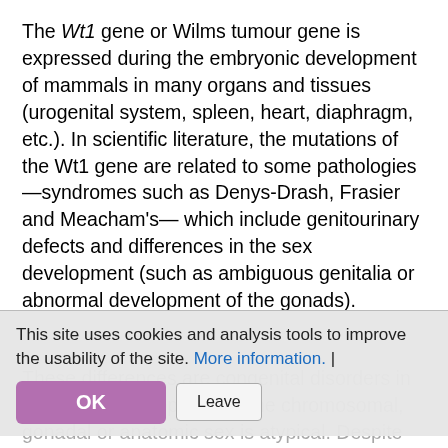The Wt1 gene or Wilms tumour gene is expressed during the embryonic development of mammals in many organs and tissues (urogenital system, spleen, heart, diaphragm, etc.). In scientific literature, the mutations of the Wt1 gene are related to some pathologies —syndromes such as Denys-Drash, Frasier and Meacham's— which include genitourinary defects and differences in the sex development (such as ambiguous genitalia or abnormal development of the gonads).
This site uses cookies and analysis tools to improve the usability of the site. More information. |
These differences are congenital disorders in which the development of the chromosomal, gonadal or anatomic sex is atypical. Despite the efforts to understand the